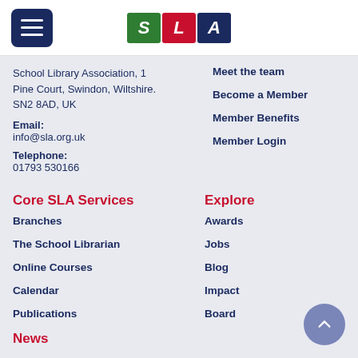[Figure (logo): SLA logo with three colored boxes: green S, red L, blue A]
School Library Association, 1 Pine Court, Swindon, Wiltshire. SN2 8AD, UK
Email:
info@sla.org.uk
Telephone:
01793 530166
Meet the team
Become a Member
Member Benefits
Member Login
Core SLA Services
Explore
Branches
Awards
The School Librarian
Jobs
Online Courses
Blog
Calendar
Impact
Publications
Board
News